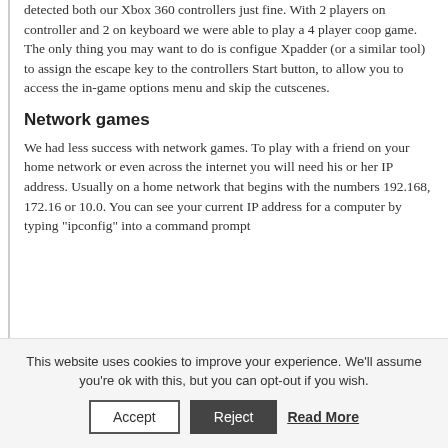detected both our Xbox 360 controllers just fine. With 2 players on controller and 2 on keyboard we were able to play a 4 player coop game. The only thing you may want to do is configue Xpadder (or a similar tool) to assign the escape key to the controllers Start button, to allow you to access the in-game options menu and skip the cutscenes.
Network games
We had less success with network games. To play with a friend on your home network or even across the internet you will need his or her IP address. Usually on a home network that begins with the numbers 192.168, 172.16 or 10.0. You can see your current IP address for a computer by typing "ipconfig" into a command prompt
This website uses cookies to improve your experience. We'll assume you're ok with this, but you can opt-out if you wish.